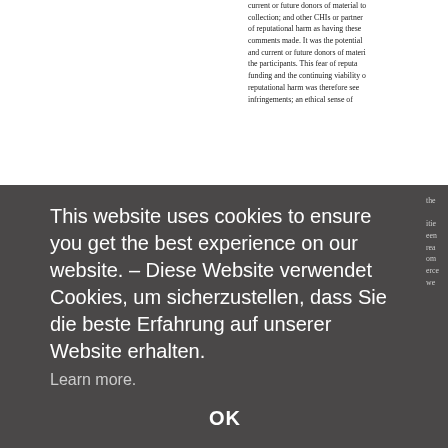current or future donors of material to collection; and other CHIs or partner of reputational harm as having these comments made. It was the potential and current or future donors of materi the participants. This fear of reputa funding and the continuing viability o reputational harm was therefore see infringements; an ethical sense of the ities een rea om erce we nsh acti lea opy e ac
[Figure (screenshot): Cookie consent overlay dialog in dark grey/charcoal background, containing text in English and German: 'This website uses cookies to ensure you get the best experience on our website. – Diese Website verwendet Cookies, um sicherzustellen, dass Sie die beste Erfahrung auf unserer Website erhalten.' followed by 'Learn more.' and an 'OK' button in bold.]
is not required such as under the in-sit